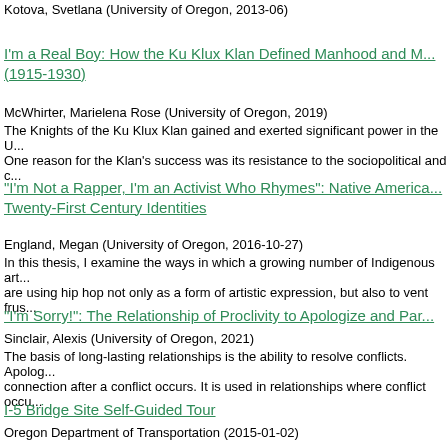Kotova, Svetlana (University of Oregon, 2013-06)
I'm a Real Boy: How the Ku Klux Klan Defined Manhood and M... (1915-1930)
McWhirter, Marielena Rose (University of Oregon, 2019)
The Knights of the Ku Klux Klan gained and exerted significant power in the U... One reason for the Klan's success was its resistance to the sociopolitical and c...
"I'm Not a Rapper, I'm an Activist Who Rhymes": Native America... Twenty-First Century Identities
England, Megan (University of Oregon, 2016-10-27)
In this thesis, I examine the ways in which a growing number of Indigenous art... are using hip hop not only as a form of artistic expression, but also to vent frus...
"I'm Sorry!": The Relationship of Proclivity to Apologize and Par...
Sinclair, Alexis (University of Oregon, 2021)
The basis of long-lasting relationships is the ability to resolve conflicts. Apolog... connection after a conflict occurs. It is used in relationships where conflict occu...
I-5 Bridge Site Self-Guided Tour
Oregon Department of Transportation (2015-01-02)